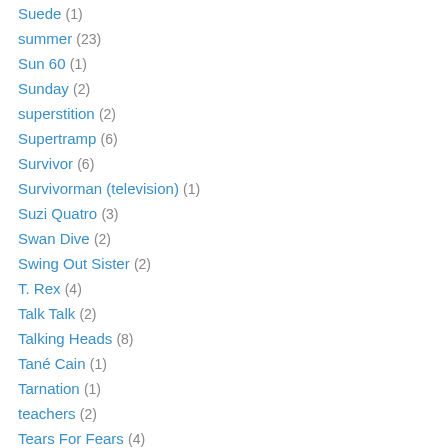Suede (1)
summer (23)
Sun 60 (1)
Sunday (2)
superstition (2)
Supertramp (6)
Survivor (6)
Survivorman (television) (1)
Suzi Quatro (3)
Swan Dive (2)
Swing Out Sister (2)
T. Rex (4)
Talk Talk (2)
Talking Heads (8)
Tané Cain (1)
Tarnation (1)
teachers (2)
Tears For Fears (4)
technology (11)
Ted Hawkins (1)